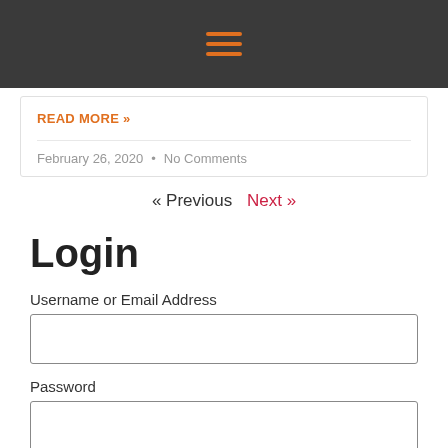☰ (hamburger menu icon)
READ MORE »
February 26, 2020  •  No Comments
« Previous   Next »
Login
Username or Email Address
Password
Remember Me